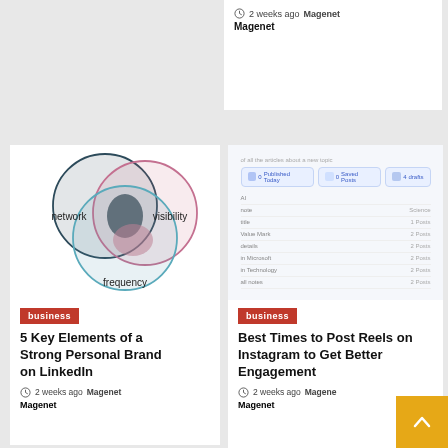2 weeks ago Magenet Magenet
[Figure (infographic): Venn diagram with three overlapping circles labeled network, visibility, and frequency with overlapping shaded regions]
business
5 Key Elements of a Strong Personal Brand on LinkedIn
2 weeks ago Magenet Magenet
[Figure (screenshot): Screenshot of a content management UI with tabs and rows]
business
Best Times to Post Reels on Instagram to Get Better Engagement
2 weeks ago Magenet Magenet